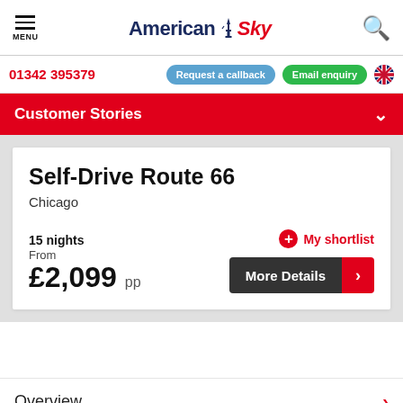MENU | American Sky | Search
01342 395379 | Request a callback | Email enquiry
Customer Stories
Self-Drive Route 66
Chicago
15 nights
From
£2,099 pp
My shortlist | More Details
Overview